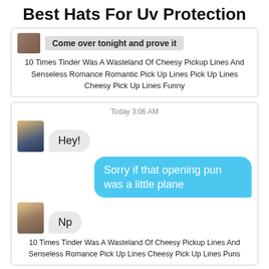Best Hats For Uv Protection
[Figure (screenshot): Chat message screenshot showing 'Come over tonight and prove it' with a small avatar]
10 Times Tinder Was A Wasteland Of Cheesy Pickup Lines And Senseless Romance Romantic Pick Up Lines Pick Up Lines Cheesy Pick Up Lines Funny
[Figure (screenshot): Chat screenshot showing Today 3:06 AM, Hey!, Sorry if that opening pun was a little plane, Np]
10 Times Tinder Was A Wasteland Of Cheesy Pickup Lines And Senseless Romance Pick Up Lines Cheesy Pick Up Lines Puns